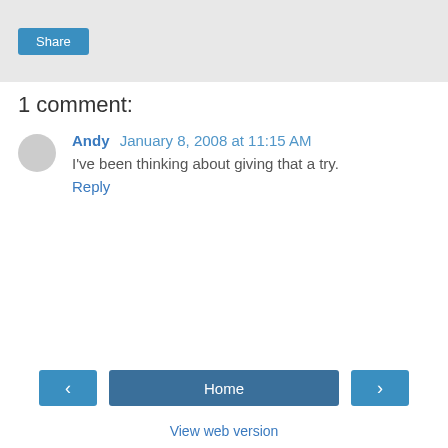[Figure (other): Share button on grey background]
1 comment:
Andy  January 8, 2008 at 11:15 AM
I've been thinking about giving that a try.
Reply
[Figure (other): Navigation bar with left arrow, Home button, and right arrow]
View web version